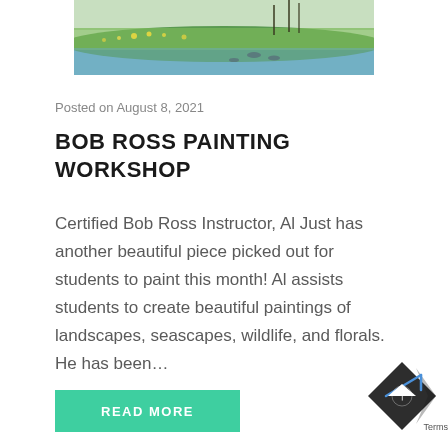[Figure (photo): Landscape painting showing a grassy meadow with water, ducks, and yellow wildflowers under soft light]
Posted on August 8, 2021
BOB ROSS PAINTING WORKSHOP
Certified Bob Ross Instructor, Al Just has another beautiful piece picked out for students to paint this month! Al assists students to create beautiful paintings of landscapes, seascapes, wildlife, and florals. He has been…
READ MORE